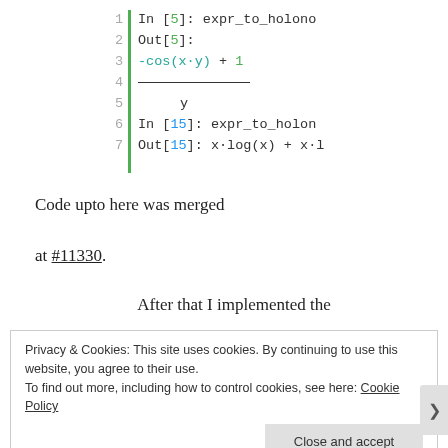[Figure (screenshot): Code block showing Jupyter-style In/Out cells with line numbers 1-7. Lines show: In [5]: expr_to_holono, Out[5]:, -cos(x·y) + 1 over a fraction bar with y below, In [15]: expr_to_holon, Out[15]: x·log(x) + x·l]
Code upto here was merged

at #11330.
After that I implemented the
Privacy & Cookies: This site uses cookies. By continuing to use this website, you agree to their use.
To find out more, including how to control cookies, see here: Cookie Policy